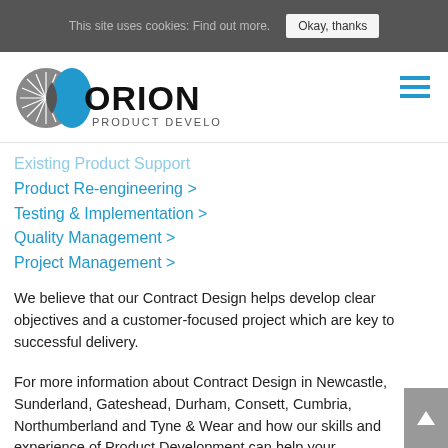This site uses cookies: Find out more.  Okay, thanks
[Figure (logo): Orion Product Development logo with circular graphic and text]
Existing Product Support
Product Re-engineering >
Testing & Implementation >
Quality Management >
Project Management >
We believe that our Contract Design helps develop clear objectives and a customer-focused project which are key to successful delivery.
For more information about Contract Design in Newcastle, Sunderland, Gateshead, Durham, Consett, Cumbria, Northumberland and Tyne & Wear and how our skills and experience of Product Development can help your business,